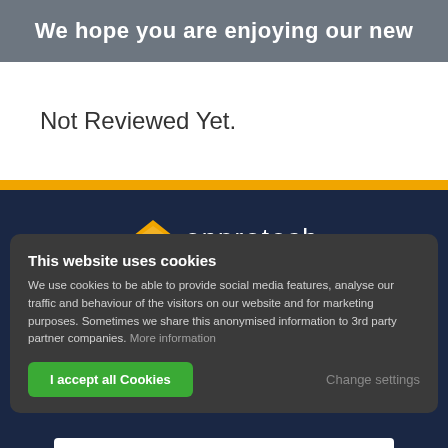We hope you are enjoying our new
Not Reviewed Yet.
[Figure (screenshot): Enprotech company logo with orange diamond/arrow icon and white text on dark navy background]
This website uses cookies
We use cookies to be able to provide social media features, analyse our traffic and behaviour of the visitors on our website and for marketing purposes. Sometimes we share this anonymised information to 3rd party partner companies. More information
I accept all Cookies   Change settings
News & Blogs